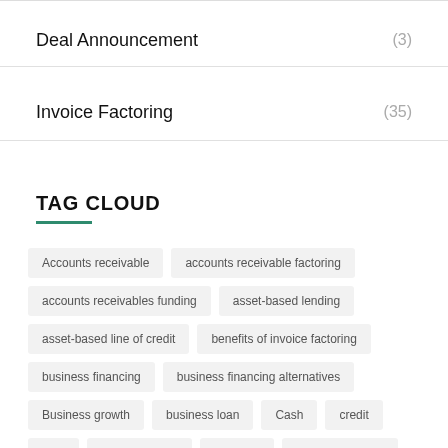Deal Announcement (3)
Invoice Factoring (35)
TAG CLOUD
Accounts receivable
accounts receivable factoring
accounts receivables funding
asset-based lending
asset-based line of credit
benefits of invoice factoring
business financing
business financing alternatives
Business growth
business loan
Cash
credit
debt
debt collection
factoring
factoring agency